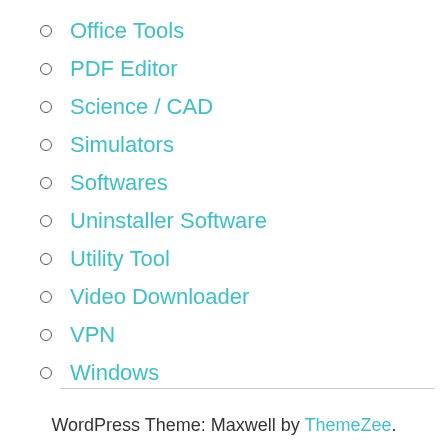Office Tools
PDF Editor
Science / CAD
Simulators
Softwares
Uninstaller Software
Utility Tool
Video Downloader
VPN
Windows
WordPress Theme: Maxwell by ThemeZee.